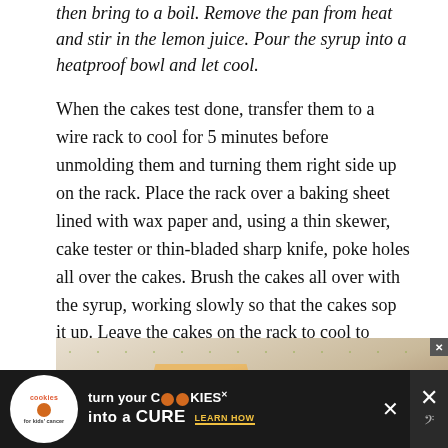then bring to a boil. Remove the pan from heat and stir in the lemon juice. Pour the syrup into a heatproof bowl and let cool.
When the cakes test done, transfer them to a wire rack to cool for 5 minutes before unmolding them and turning them right side up on the rack. Place the rack over a baking sheet lined with wax paper and, using a thin skewer, cake tester or thin-bladed sharp knife, poke holes all over the cakes. Brush the cakes all over with the syrup, working slowly so that the cakes sop it up. Leave the cakes on the rack to cool to room temperature.
[Figure (photo): Photo of sliced golden pound cake or loaf cake on a light blue/grey surface with small green arrow/leaf print pattern. The cake slices are golden brown showing moist crumb interior.]
[Figure (other): Advertisement banner: 'cookies for kids cancer — turn your COOKIES into a CURE LEARN HOW' with a white circular logo on black background. Close button and mute button visible on right.]